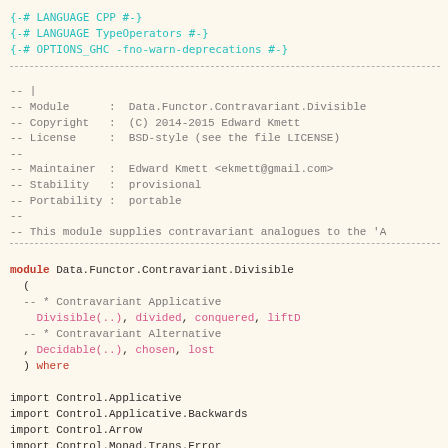{-# LANGUAGE CPP #-}
{-# LANGUAGE TypeOperators #-}
{-# OPTIONS_GHC -fno-warn-deprecations #-}
-- |
-- Module      :  Data.Functor.Contravariant.Divisible
-- Copyright   :  (C) 2014-2015 Edward Kmett
-- License     :  BSD-style (see the file LICENSE)
--
-- Maintainer  :  Edward Kmett <ekmett@gmail.com>
-- Stability   :  provisional
-- Portability :  portable
--
-- This module supplies contravariant analogues to the 'A
module Data.Functor.Contravariant.Divisible
  (
  -- * Contravariant Applicative
    Divisible(..), divided, conquered, liftD
  -- * Contravariant Alternative
  , Decidable(..), chosen, lost
  ) where

import Control.Applicative
import Control.Applicative.Backwards
import Control.Arrow
import Control.Monad.Trans.Error
import Control.Monad.Trans.Except